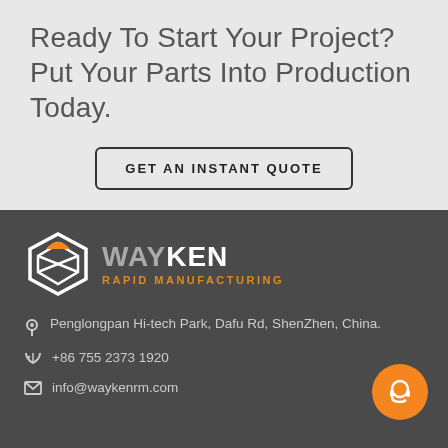Ready To Start Your Project? Put Your Parts Into Production Today.
GET AN INSTANT QUOTE
[Figure (logo): WayKen Rapid Manufacturing logo with geometric box icon, grey WAY and white KEN text, orange RAPID MANUFACTURING tagline]
Penglongpan Hi-tech Park, Dafu Rd, ShenZhen, China.
+86 755 2373 1920
info@waykenrm.com